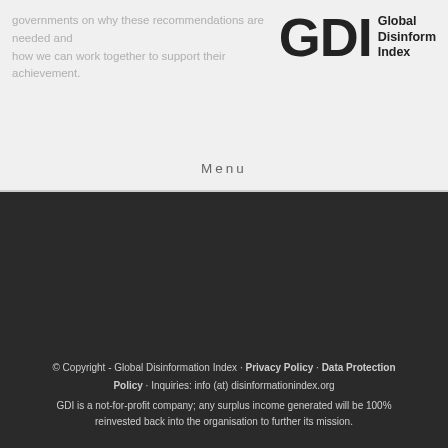governments on why these recommendations are needed and how we can work together to support their achievement.
[Figure (logo): GDI - Global Disinformation Index logo with large bold GDI letters and text]
Menu
© Copyright - Global Disinformation Index · Privacy Policy · Data Protection Policy · Inquiries: info (at) disinformationindex.org GDI is a not-for-profit company; any surplus income generated will be 100% reinvested back into the organisation to further its mission.